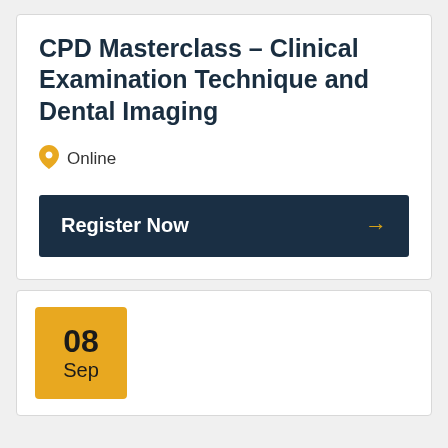CPD Masterclass – Clinical Examination Technique and Dental Imaging
Online
Register Now →
08 Sep